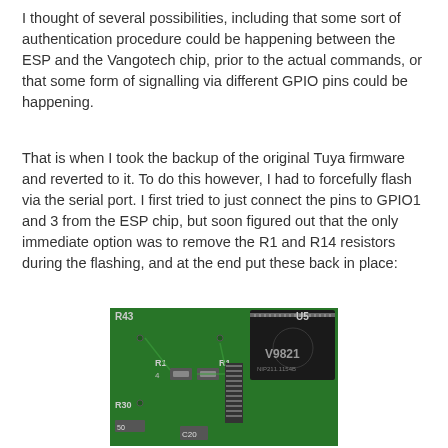I thought of several possibilities, including that some sort of authentication procedure could be happening between the ESP and the Vangotech chip, prior to the actual commands, or that some form of signalling via different GPIO pins could be happening.
That is when I took the backup of the original Tuya firmware and reverted to it. To do this however, I had to forcefully flash via the serial port. I first tried to just connect the pins to GPIO1 and 3 from the ESP chip, but soon figured out that the only immediate option was to remove the R1 and R14 resistors during the flashing, and at the end put these back in place:
[Figure (photo): Close-up photo of a green PCB (printed circuit board) showing components labeled R43, U5, R14, R1, R30, R50, C20, and a chip marked V9821 NIP211.1154B]